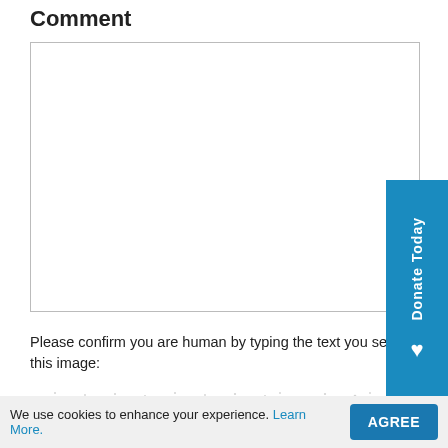Comment
[Figure (screenshot): Empty text area input box for entering a comment]
[Figure (other): Blue vertical 'Donate Today' button with a heart icon on the right side]
Please confirm you are human by typing the text you see in this image:
[Figure (other): CAPTCHA image showing distorted text: Q9E UN]
We use cookies to enhance your experience. Learn More.
AGREE